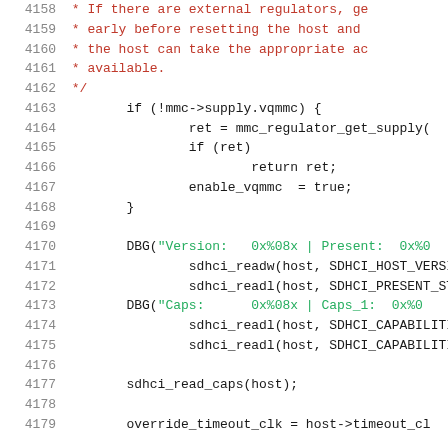[Figure (screenshot): Source code listing showing C code lines 4158-4179, featuring MMC regulator supply check, DBG macro calls, sdhci read functions, and sdhci_read_caps call. Line numbers in gray on left, comment text in red, string literals in green, other code in dark/black.]